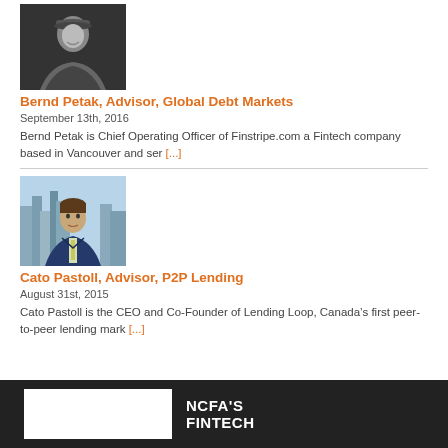[Figure (photo): Black and white photo of Bernd Petak wearing a cap]
Bernd Petak, Advisor, Global Debt Markets
September 13th, 2016
Bernd Petak is Chief Operating Officer of Finstripe.com a Fintech company based in Vancouver and ser [...]
[Figure (photo): Color photo of Cato Pastoll in a suit with city skyline background]
Cato Pastoll, Advisor, P2P Lending
August 31st, 2015
Cato Pastoll is the CEO and Co-Founder of Lending Loop, Canada’s first peer-to-peer lending mark [...]
NCFA'S FINTECH